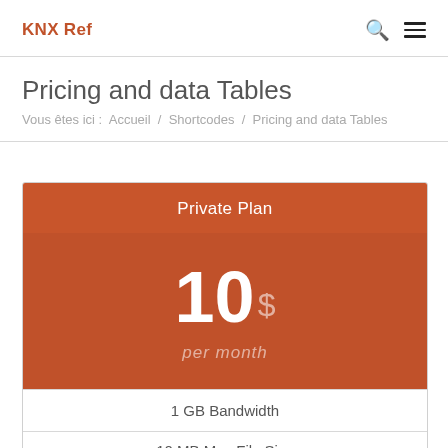KNX Ref
Pricing and data Tables
Vous êtes ici :  Accueil  /  Shortcodes  /  Pricing and data Tables
| Private Plan |
| --- |
| 10$ per month |
| 1 GB Bandwidth |
| 10 MB Max File Size |